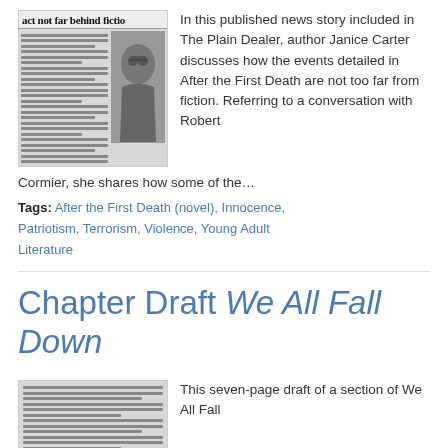[Figure (photo): Newspaper clipping with headline 'act not far behind fictio' and a photo of a man with glasses]
In this published news story included in The Plain Dealer, author Janice Carter discusses how the events detailed in After the First Death are not too far from fiction. Referring to a conversation with Robert Cormier, she shares how some of the…
Tags: After the First Death (novel), Innocence, Patriotism, Terrorism, Violence, Young Adult Literature
Chapter Draft We All Fall Down
[Figure (photo): Handwritten or typed manuscript draft page, partially visible]
This seven-page draft of a section of We All Fall Down...